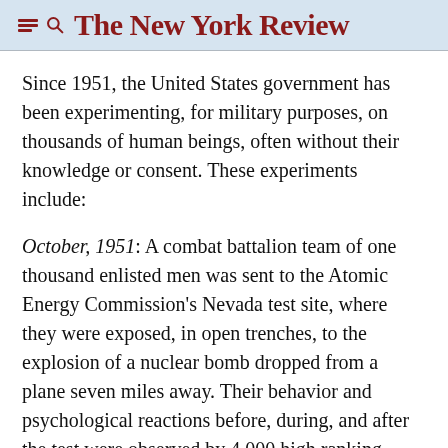The New York Review
Since 1951, the United States government has been experimenting, for military purposes, on thousands of human beings, often without their knowledge or consent. These experiments include:
October, 1951: A combat battalion team of one thousand enlisted men was sent to the Atomic Energy Commission's Nevada test site, where they were exposed, in open trenches, to the explosion of a nuclear bomb dropped from a plane seven miles away. Their behavior and psychological reactions before, during, and after the test were observed by 4,000 high ranking officers from all branches of the